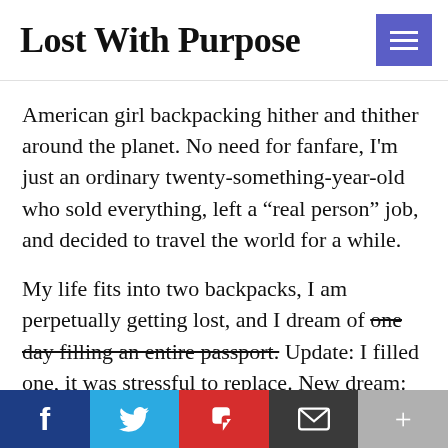Lost With Purpose
American girl backpacking hither and thither around the planet. No need for fanfare, I'm just an ordinary twenty-something-year-old who sold everything, left a “real person” job, and decided to travel the world for a while.
My life fits into two backpacks, I am perpetually getting lost, and I dream of one day filling an entire passport. Update: I filled one, it was stressful to replace. New dream: SPACE TRAVEL.
Social share bar: Facebook, Twitter, Flipboard, Email, More